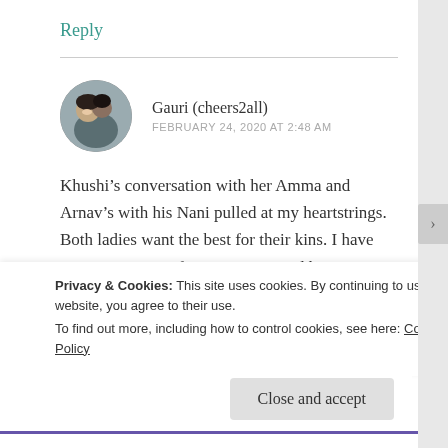Reply
[Figure (photo): Circular avatar photo showing a smiling couple]
Gauri (cheers2all)
FEBRUARY 24, 2020 AT 2:48 AM
Khushi’s conversation with her Amma and Arnav’s with his Nani pulled at my heartstrings. Both ladies want the best for their kins. I have immense respect for Manorama and her conversation with Khushi today reaffirmed it.
Privacy & Cookies: This site uses cookies. By continuing to use this website, you agree to their use.
To find out more, including how to control cookies, see here: Cookie Policy